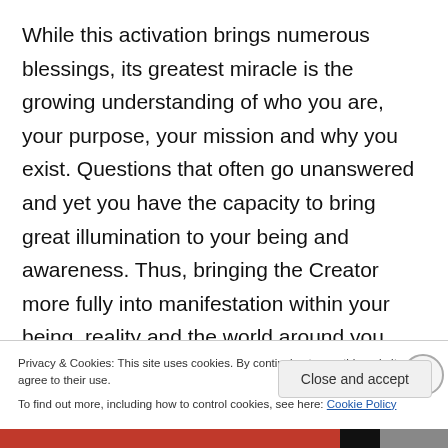While this activation brings numerous blessings, its greatest miracle is the growing understanding of who you are, your purpose, your mission and why you exist. Questions that often go unanswered and yet you have the capacity to bring great illumination to your being and awareness. Thus, bringing the Creator more fully into manifestation within your being, reality and the world around you. This activation brings self-awareness to a whole new level. The activation I speak of may not download fully and completely into your being instant. It is
Privacy & Cookies: This site uses cookies. By continuing to use this website, you agree to their use.
To find out more, including how to control cookies, see here: Cookie Policy